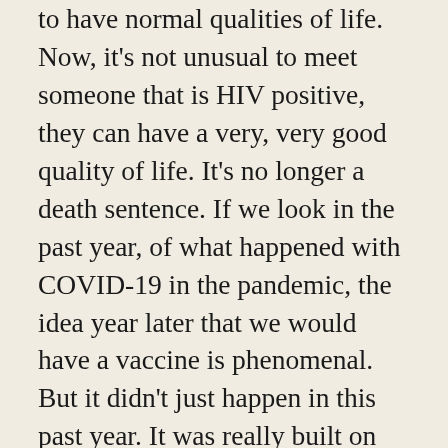to have normal qualities of life. Now, it's not unusual to meet someone that is HIV positive, they can have a very, very good quality of life. It's no longer a death sentence. If we look in the past year, of what happened with COVID-19 in the pandemic, the idea year later that we would have a vaccine is phenomenal. But it didn't just happen in this past year. It was really built on this preclinical research that's been going on for decades and And it just so happened that, you know, this virus that came in was Coronavirus, that came in, you know, was with some research that lined up and we were able to